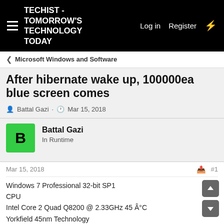TECHIST - TOMORROW'S TECHNOLOGY TODAY | Log in | Register
Microsoft Windows and Software
After hibernate wake up, 100000ea blue screen comes
Battal Gazi · Mar 15, 2018
Battal Gazi
In Runtime
Mar 15, 2018  #1
Windows 7 Professional 32-bit SP1
CPU
Intel Core 2 Quad Q8200 @ 2.33GHz 45 Â°C
Yorkfield 45nm Technology
RAM
3.00GB Dual-Channel DDR2 @ 399MHz (5-5-5-18)